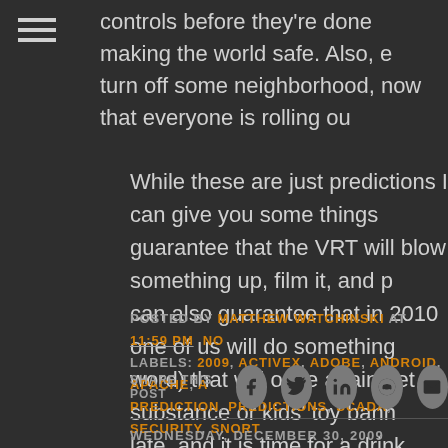controls before they're done making the world safe. Also, e turn off some neighborhood, now that everyone is rolling ou
While these are just predictions I can give you some things guarantee that the VRT will blow something up, film it, and can also guarantee that in 2010 one of us will do something word) that will once again get a substance or kids' toy bann late, and it is time for a drink.
POSTED BY MATTHEW WATCHINSKI AT 11:59 PM NO LABELS: 2009, ACTIVEX, ADOBE, ANDROID, APACHE, A PREDICTION, PREDICTIONS, SCADA, SECURITY, SNORT
SHARE THIS POST
WEDNESDAY, DECEMBER 30, 2009